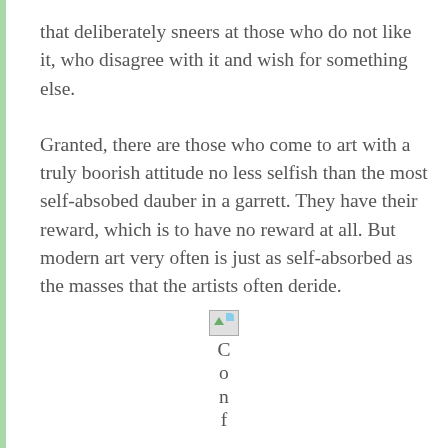that deliberately sneers at those who do not like it, who disagree with it and wish for something else.
Granted, there are those who come to art with a truly boorish attitude no less selfish than the most self-absobed dauber in a garrett. They have their reward, which is to have no reward at all. But modern art very often is just as self-absorbed as the masses that the artists often deride.
[Figure (other): Broken image icon followed by vertically oriented letters spelling 'Con f' (partial word, possibly 'Continued' or 'Confessions')]